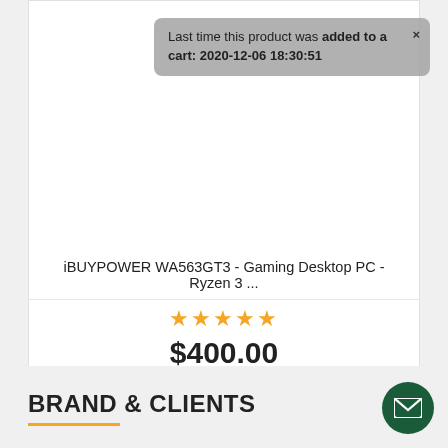[Figure (photo): Gaming desktop PC with RGB fan visible inside tower case, gaming keyboard with red backlight, and gaming mouse with RGB lighting, on a dark background. A tooltip overlay reads: Last time this product was added to a cart: 2020-12-06 18:30:51]
Last time this product was added to a cart: 2020-12-06 18:30:51
iBUYPOWER WA563GT3 - Gaming Desktop PC - Ryzen 3 ...
★★★★★
$400.00
🛒 Add to cart
BRAND & CLIENTS